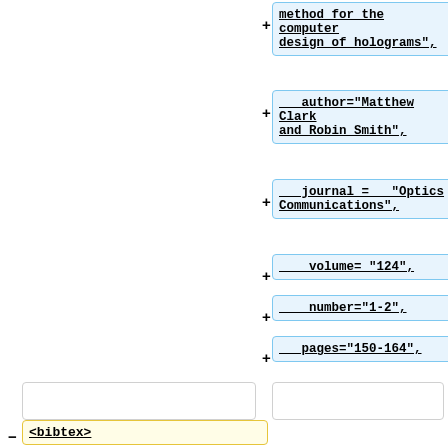+ method for the computer design of holograms",
+     author="Matthew Clark and Robin Smith",
+     journal =     "Optics Communications",
+     volume= "124",
+     number="1-2",
+     pages="150-164",
+     year="1996"
+     }
+ </bibtex>
- <bibtex>